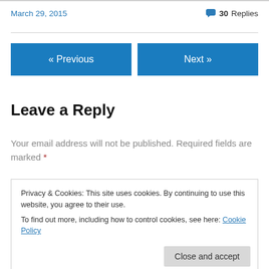March 29, 2015
30 Replies
« Previous
Next »
Leave a Reply
Your email address will not be published. Required fields are marked *
Privacy & Cookies: This site uses cookies. By continuing to use this website, you agree to their use. To find out more, including how to control cookies, see here: Cookie Policy
Close and accept